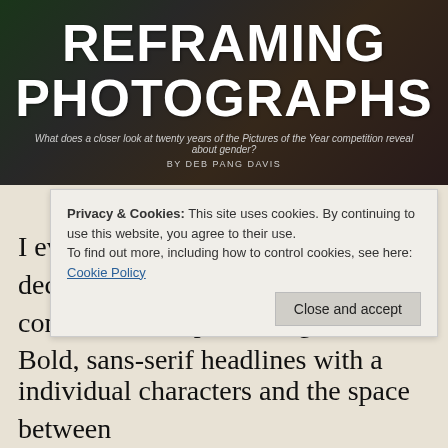[Figure (photo): Hero banner image with dark collage background showing photographs. Large white bold text reads REFRAMING PHOTOGRAPHS. Subtitle: What does a closer look at twenty years of the Pictures of the Year competition reveal about gender? By Deb Pang Davis.]
Soleil
I eventually went with classy, and decided to set type that is more consistent with publishing websites. Bold, sans-serif headlines with a
Privacy & Cookies: This site uses cookies. By continuing to use this website, you agree to their use.
To find out more, including how to control cookies, see here: Cookie Policy
Close and accept
individual characters and the space between